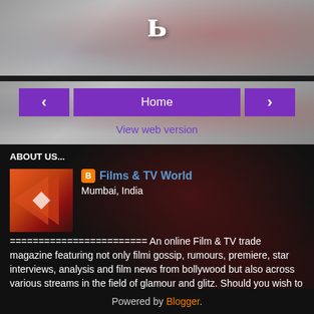[Figure (logo): Blogger logo B mark at top, white on grey/dark background]
Home
View web version
ABOUT US...
[Figure (photo): Films & TV World profile image with orange/red geometric chevron design]
Films & TV World
Mumbai, India
======================== An online Film & TV trade magazine featuring not only filmi gossip, rumours, premiere, star interviews, analysis and film news from bollywood but also across various streams in the field of glamour and glitz. Should you wish to carry your oncoming film release news, launches, music release, film promotions, etc. email us at filmsntv@gmail.com and we will be happy to cover the same... ========================
View my complete profile
Powered by Blogger.